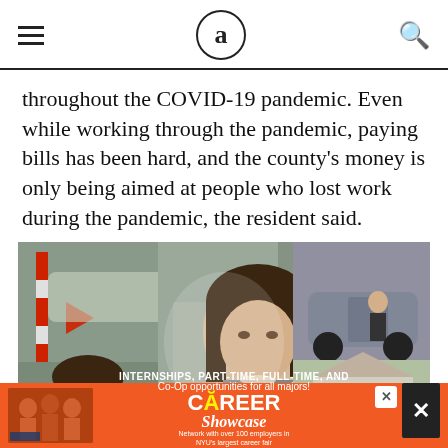a (logo)
throughout the COVID-19 pandemic. Even while working through the pandemic, paying bills has been hard, and the county's money is only being aimed at people who lost work during the pandemic, the resident said.
[Figure (photo): Photo collage showing a celebrity (woman with dark hair in grey dress) in center, flanked by images of a private jet, people on airplane stairs, a car, and a house.]
[Figure (photo): Advertisement banner: Career Showcase event ad with orange background, people in foreground, text 'CAREER Showcase' with event details.]